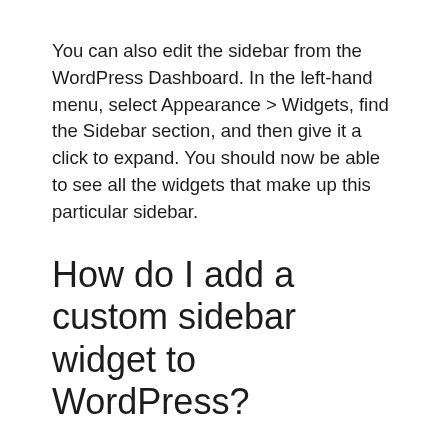You can also edit the sidebar from the WordPress Dashboard. In the left-hand menu, select Appearance > Widgets, find the Sidebar section, and then give it a click to expand. You should now be able to see all the widgets that make up this particular sidebar.
How do I add a custom sidebar widget to WordPress?
How to create a custom WordPress sidebar (in 2 steps)